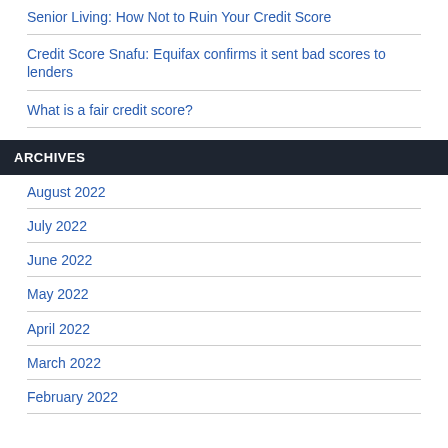Senior Living: How Not to Ruin Your Credit Score
Credit Score Snafu: Equifax confirms it sent bad scores to lenders
What is a fair credit score?
ARCHIVES
August 2022
July 2022
June 2022
May 2022
April 2022
March 2022
February 2022